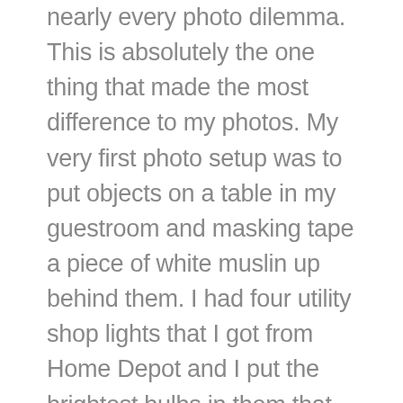nearly every photo dilemma. This is absolutely the one thing that made the most difference to my photos. My very first photo setup was to put objects on a table in my guestroom and masking tape a piece of white muslin up behind them. I had four utility shop lights that I got from Home Depot and I put the brightest bulbs in them that they were rated for. I clipped them on the back of a folding chair so I could aim them at whatever I was photographing. The photos still looked a little dark, but I could usually fix them in Photoshop to make them a little better. The